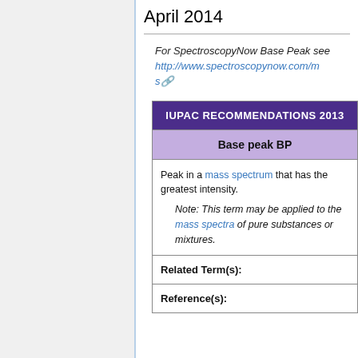April 2014
For SpectroscopyNow Base Peak see http://www.spectroscopynow.com/ms
| IUPAC RECOMMENDATIONS 2013 |
| --- |
| Base peak BP |
| Peak in a mass spectrum that has the greatest intensity.
Note: This term may be applied to the mass spectra of pure substances or mixtures. |
| Related Term(s): |
| Reference(s): |